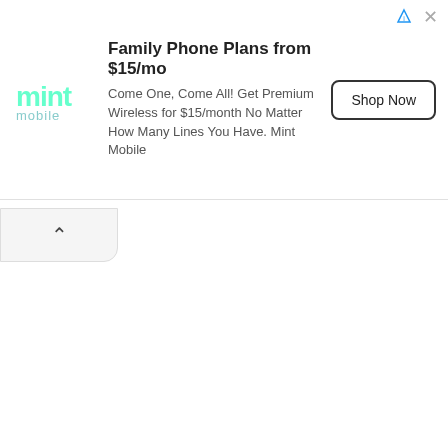[Figure (screenshot): Mint Mobile advertisement banner. Contains Mint Mobile logo on left, headline 'Family Phone Plans from $15/mo', body text 'Come One, Come All! Get Premium Wireless for $15/month No Matter How Many Lines You Have. Mint Mobile', and a 'Shop Now' button on the right. Ad info icon and close X in top-right corner. Below banner is a collapse chevron button.]